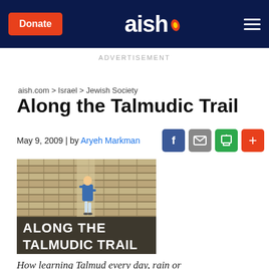Donate | aish. | menu
ADVERTISEMENT
aish.com > Israel > Jewish Society
Along the Talmudic Trail
May 9, 2009 | by Aryeh Markman
[Figure (illustration): Animated/illustrated image of a man in a blue jacket walking along ancient stone terraced land, with text overlay reading ALONG THE TALMUDIC TRAIL]
How learning Talmud every day, rain or